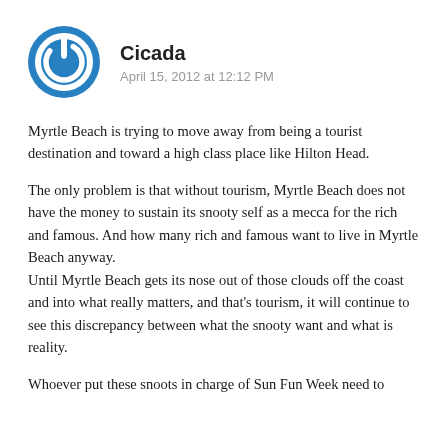[Figure (logo): Blue circular avatar icon with a power symbol (circle with a line at the top) in white, representing user 'Cicada']
Cicada
April 15, 2012 at 12:12 PM
Myrtle Beach is trying to move away from being a tourist destination and toward a high class place like Hilton Head.
The only problem is that without tourism, Myrtle Beach does not have the money to sustain its snooty self as a mecca for the rich and famous. And how many rich and famous want to live in Myrtle Beach anyway.
Until Myrtle Beach gets its nose out of those clouds off the coast and into what really matters, and that's tourism, it will continue to see this discrepancy between what the snooty want and what is reality.
Whoever put these snoots in charge of Sun Fun Week need to